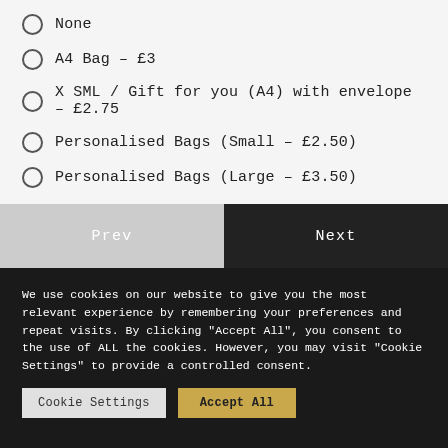None
A4 Bag – £3
X SML / Gift for you (A4) with envelope – £2.75
Personalised Bags (Small – £2.50)
Personalised Bags (Large – £3.50)
We use cookies on our website to give you the most relevant experience by remembering your preferences and repeat visits. By clicking "Accept All", you consent to the use of ALL the cookies. However, you may visit "Cookie Settings" to provide a controlled consent.
Cookie Settings | Accept All